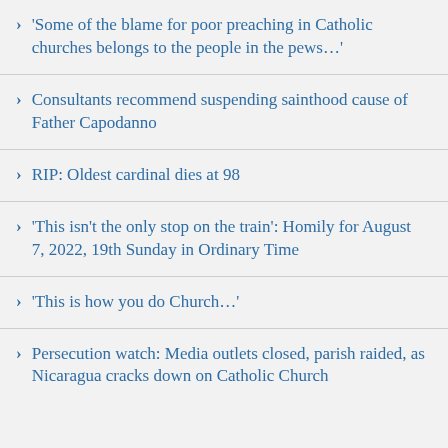'Some of the blame for poor preaching in Catholic churches belongs to the people in the pews…'
Consultants recommend suspending sainthood cause of Father Capodanno
RIP: Oldest cardinal dies at 98
'This isn't the only stop on the train': Homily for August 7, 2022, 19th Sunday in Ordinary Time
'This is how you do Church…'
Persecution watch: Media outlets closed, parish raided, as Nicaragua cracks down on Catholic Church